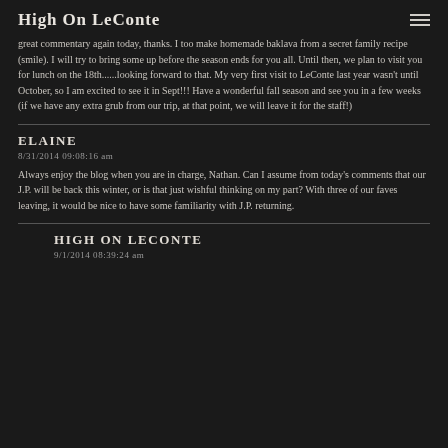High On LeConte
great commentary again today, thanks. I too make homemade baklava from a secret family recipe (smile). I will try to bring some up before the season ends for you all. Until then, we plan to visit you for lunch on the 18th......looking forward to that. My very first visit to LeConte last year wasn't until October, so I am excited to see it in Sept!!! Have a wonderful fall season and see you in a few weeks (if we have any extra grub from our trip, at that point, we will leave it for the staff!)
ELAINE
8/31/2014 09:08:16 am
Always enjoy the blog when you are in charge, Nathan. Can I assume from today's comments that our J.P. will be back this winter, or is that just wishful thinking on my part? With three of our faves leaving, it would be nice to have some familiarity with J.P. returning.
HIGH ON LECONTE
9/1/2014 08:39:24 am